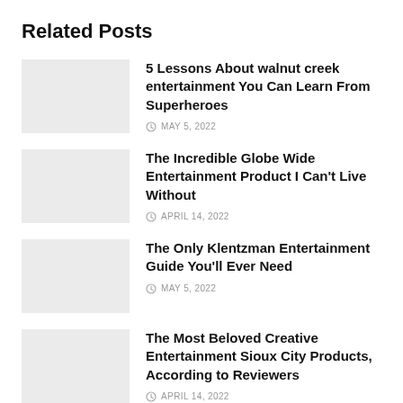Related Posts
5 Lessons About walnut creek entertainment You Can Learn From Superheroes — MAY 5, 2022
The Incredible Globe Wide Entertainment Product I Can't Live Without — APRIL 14, 2022
The Only Klentzman Entertainment Guide You'll Ever Need — MAY 5, 2022
The Most Beloved Creative Entertainment Sioux City Products, According to Reviewers — APRIL 14, 2022